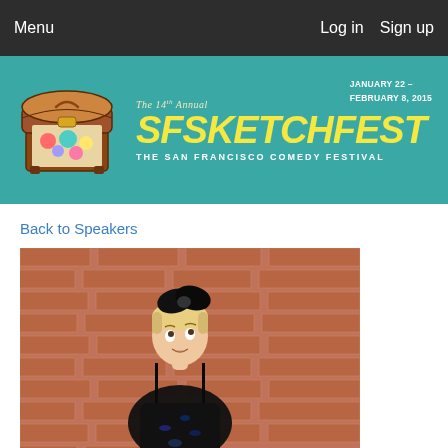Menu   Log in   Sign up
[Figure (illustration): SF Sketchfest banner — The 14th Annual SF Sketchfest, The San Francisco Comedy Festival, January 22 – February 8, 2015, with a colorful treasure chest illustration on teal background]
Back to Speakers
[Figure (photo): Woman with short blonde hair wearing a large black bow headband and a black sequined dress, posing in front of a red brick wall, looking upward with an amused expression]